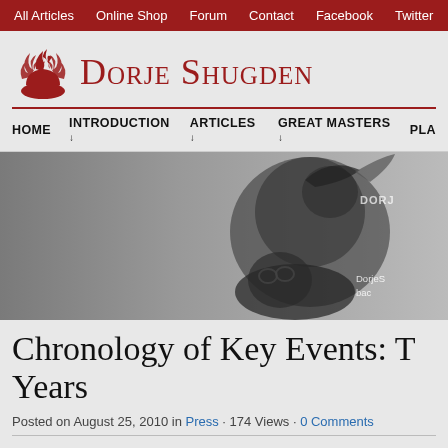All Articles  Online Shop  Forum  Contact  Facebook  Twitter
[Figure (logo): Dorje Shugden website logo with red flame icon and serif text 'Dorje Shugden']
HOME  INTRODUCTION ↓  ARTICLES ↓  GREAT MASTERS ↓  PLA
[Figure (photo): Black and white photograph of a metal Dorje Shugden statue, showing a deity figure riding on a creature, with watermark text 'DORJ' and caption 'DorjeS... bac...' in the lower right corner]
Chronology of Key Events: T Years
Posted on August 25, 2010 in Press · 174 Views · 0 Comments